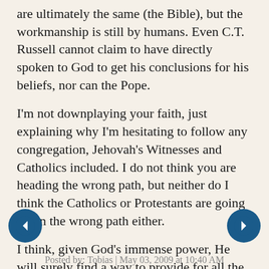are ultimately the same (the Bible), but the workmanship is still by humans. Even C.T. Russell cannot claim to have directly spoken to God to get his conclusions for his beliefs, nor can the Pope.
I'm not downplaying your faith, just explaining why I'm hesitating to follow any congregation, Jehovah's Witnesses and Catholics included. I do not think you are heading the wrong path, but neither do I think the Catholics or Protestants are going down the wrong path either.
I think, given God's immense power, He will surely find a way to provide for all the different denominations somehow. That's what I hope, anyway, but it might not happen.
Posted by: Tobias | May 03, 2009 at 10:40 AM